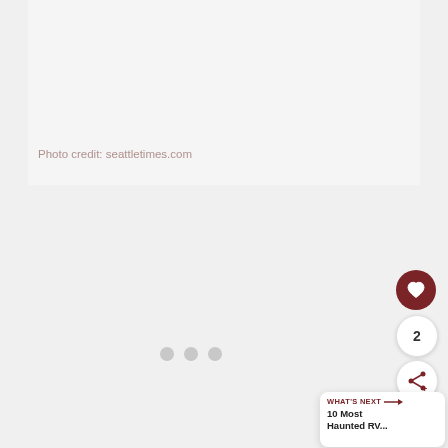[Figure (photo): Top image area placeholder, light gray background]
Photo credit: seattletimes.com
[Figure (photo): Slideshow image area with three dot indicators at bottom]
2
WHAT'S NEXT → 10 Most Haunted RV...